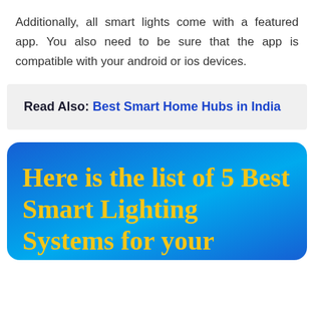Additionally, all smart lights come with a featured app. You also need to be sure that the app is compatible with your android or ios devices.
Read Also: Best Smart Home Hubs in India
Here is the list of 5 Best Smart Lighting Systems for your